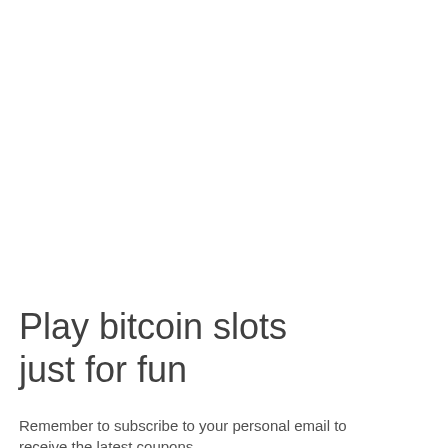Play bitcoin slots just for fun
Remember to subscribe to your personal email to receive the latest coupons